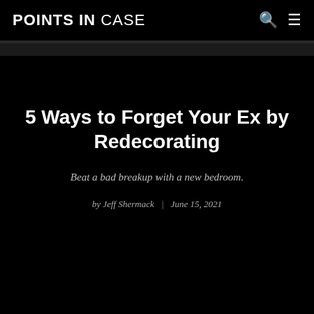POINTS IN CASE
5 Ways to Forget Your Ex by Redecorating
Beat a bad breakup with a new bedroom.
by Jeff Shermack | June 15, 2021